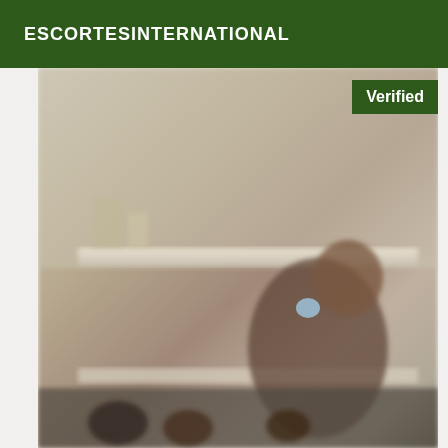ESCORTESINTERNATIONAL
[Figure (photo): Blurry mirror selfie photo of a person in a bathroom setting, with a 'Verified' badge overlay in the top right corner]
Verified